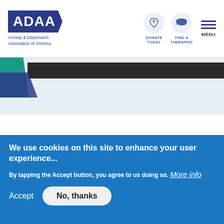[Figure (logo): ADAA logo with blue pentagon shape and tagline 'Anxiety & Depression Association of America']
DONATE TODAY
FIND A THERAPIST
MENU
[Figure (illustration): Banner area with teal and navy geometric shapes and dark bar]
BLOG POST
Your Kid is Off to College. What
We use cookies on this site to enhance your user experience...
By tapping the Accept button, you agree to us doing so. More info
Accept
No, thanks